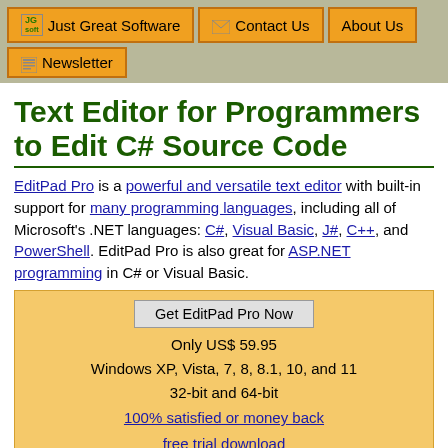Just Great Software | Contact Us | About Us | Newsletter
Text Editor for Programmers to Edit C# Source Code
EditPad Pro is a powerful and versatile text editor with built-in support for many programming languages, including all of Microsoft's .NET languages: C#, Visual Basic, J#, C++, and PowerShell. EditPad Pro is also great for ASP.NET programming in C# or Visual Basic.
Get EditPad Pro Now
Only US$ 59.95
Windows XP, Vista, 7, 8, 8.1, 10, and 11
32-bit and 64-bit
100% satisfied or money back
free trial download